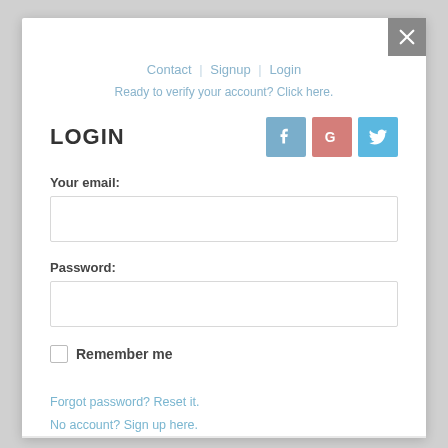Contact | Signup | Login
Ready to verify your account? Click here.
LOGIN
[Figure (illustration): Social login icons: Facebook (blue), Google (red/pink), Twitter (blue)]
Your email:
Password:
Remember me
Forgot password? Reset it.
No account? Sign up here.